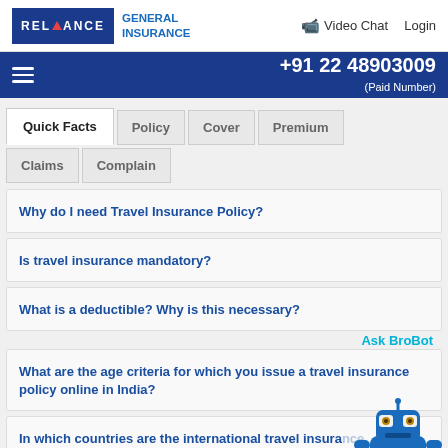RELIANCE GENERAL INSURANCE | Video Chat | Login
+91 22 48903009 (Paid Number)
Quick Facts | Policy | Cover | Premium | Claims | Complain
Why do I need Travel Insurance Policy?
Is travel insurance mandatory?
What is a deductible? Why is this necessary?
What are the age criteria for which you issue a travel insurance policy online in India?
In which countries are the international travel insurance policies recognised / accepted?
[Figure (illustration): Ask BroBot chatbot robot mascot — blue robot character with camera eyes and heart symbol on chest]